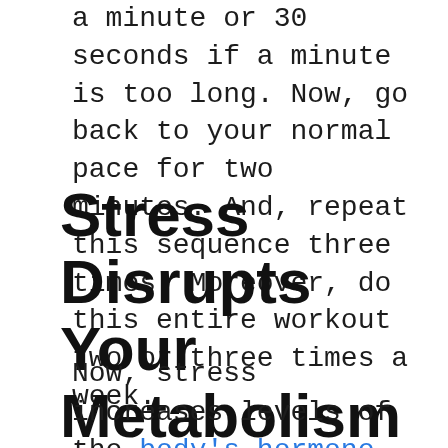a minute or 30 seconds if a minute is too long. Now, go back to your normal pace for two minutes. And, repeat this sequence three times. Moreover, do this entire workout two or three times a week.
Stress Disrupts Your Metabolism
Now, stress increases levels of the body's hormone cortisol. Regrettably, this causes people to eat more unhealthy foods, which, in turn,